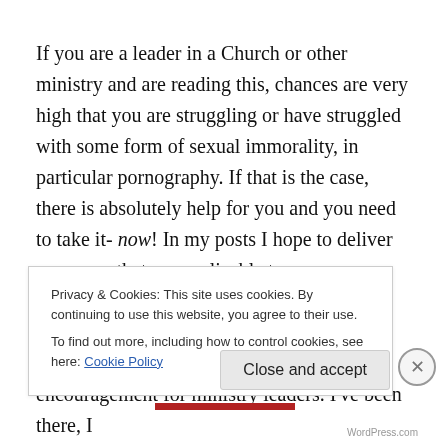If you are a leader in a Church or other ministry and are reading this, chances are very high that you are struggling or have struggled with some form of sexual immorality, in particular pornography. If that is the case, there is absolutely help for you and you need to take it- now! In my posts I hope to deliver resources that are applicable to everyone struggling with some form of sexual temptation or addiction but I want to especially provide resources and encouragement for ministry leaders. I've been there, I
Privacy & Cookies: This site uses cookies. By continuing to use this website, you agree to their use.
To find out more, including how to control cookies, see here: Cookie Policy